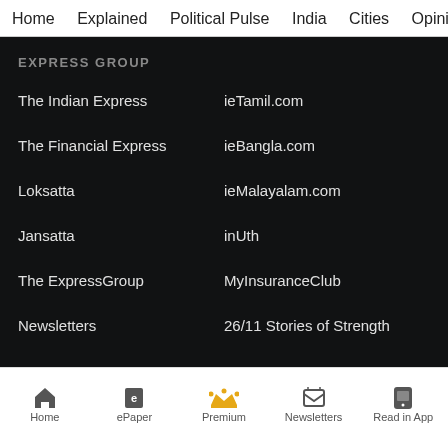Home  Explained  Political Pulse  India  Cities  Opinion  Entertainment
EXPRESS GROUP
The Indian Express
ieTamil.com
The Financial Express
ieBangla.com
Loksatta
ieMalayalam.com
Jansatta
inUth
The ExpressGroup
MyInsuranceClub
Newsletters
26/11 Stories of Strength
Home  ePaper  Premium  Newsletters  Read in App